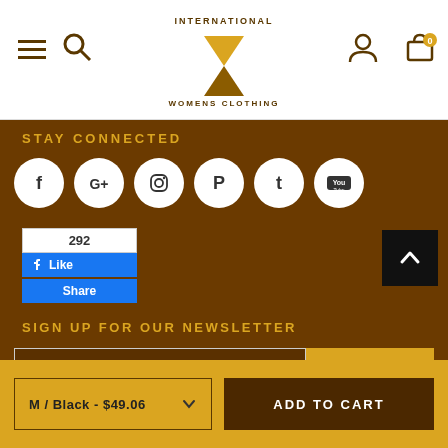International Womens Clothing — navigation header with hamburger, search, logo, user, cart (0)
STAY CONNECTED
[Figure (illustration): Row of 6 social media icon circles: Facebook, Google+, Instagram, Pinterest, Tumblr, YouTube]
[Figure (screenshot): Facebook like/share widget showing 292 likes, Like button, Share button]
[Figure (illustration): Back to top arrow button (black square with up chevron)]
SIGN UP FOR OUR NEWSLETTER
enter your email address
SUBMIT
M / Black - $49.06
ADD TO CART